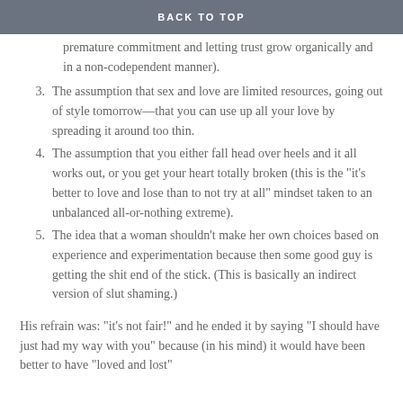BACK TO TOP
sign of rejection… “only” I mean: without premature commitment and letting trust grow organically and in a non-codependent manner).
3. The assumption that sex and love are limited resources, going out of style tomorrow—that you can use up all your love by spreading it around too thin.
4. The assumption that you either fall head over heels and it all works out, or you get your heart totally broken (this is the “it’s better to love and lose than to not try at all” mindset taken to an unbalanced all-or-nothing extreme).
5. The idea that a woman shouldn’t make her own choices based on experience and experimentation because then some good guy is getting the shit end of the stick. (This is basically an indirect version of slut shaming.)
His refrain was: “it’s not fair!” and he ended it by saying “I should have just had my way with you” because (in his mind) it would have been better to have “loved and lost”